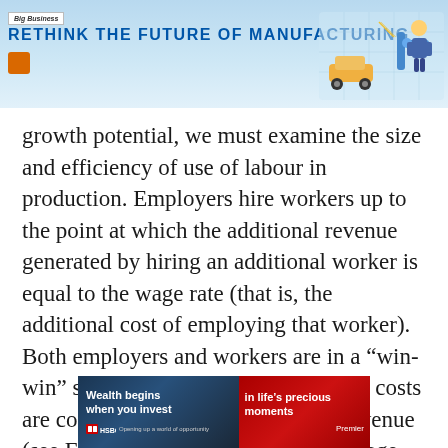RETHINK THE FUTURE OF MANUFACTURING
growth potential, we must examine the size and efficiency of use of labour in production. Employers hire workers up to the point at which the additional revenue generated by hiring an additional worker is equal to the wage rate (that is, the additional cost of employing that worker). Both employers and workers are in a “win-win” situation when additional labour costs are compensated by the additional revenue (see Figure 1). The bridge between wage
[Figure (photo): HSBC advertisement banner: 'Wealth begins when you invest' on dark background left side, 'in life’s precious moments' on red background right side, with HSBC logo and Premier label.]